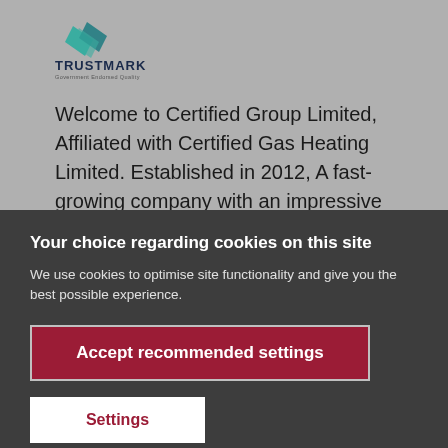[Figure (logo): TrustMark Government Endorsed Quality logo with teal/green geometric icon and dark blue TRUSTMARK text]
Welcome to Certified Group Limited, Affiliated with Certified Gas Heating Limited. Established in 2012, A fast-growing company with an impressive repu...
Your choice regarding cookies on this site
We use cookies to optimise site functionality and give you the best possible experience.
Accept recommended settings
Settings